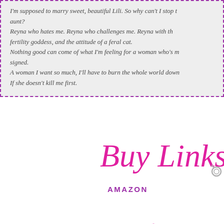I'm supposed to marry sweet, beautiful Lili. So why can't I stop thinking about her aunt?
Reyna who hates me. Reyna who challenges me. Reyna with the body of a fertility goddess, and the attitude of a feral cat.
Nothing good can come of what I'm feeling for a woman who's my future niece-by-marriage signed.
A woman I want so much, I'll have to burn the whole world down to have her.
If she doesn't kill me first.
[Figure (illustration): Decorative script text reading 'Buy Links' in pink/magenta cursive with decorative swirls and a small ring charm]
AMAZON
[Figure (illustration): Decorative script text reading 'Reviews' in pink/magenta cursive with decorative swirls]